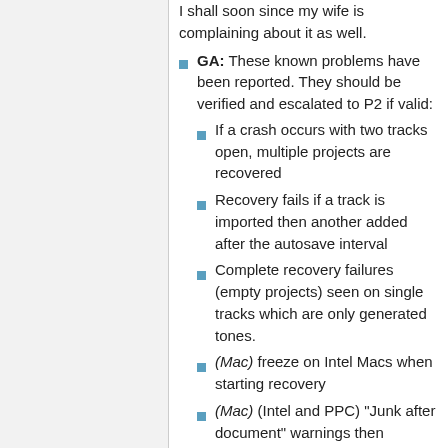I shall soon since my wife is complaining about it as well.
GA: These known problems have been reported. They should be verified and escalated to P2 if valid:
If a crash occurs with two tracks open, multiple projects are recovered
Recovery fails if a track is imported then another added after the autosave interval
Complete recovery failures (empty projects) seen on single tracks which are only generated tones.
(Mac) freeze on Intel Macs when starting recovery
(Mac) (Intel and PPC) "Junk after document" warnings then recovered project is empty. See here and download here an